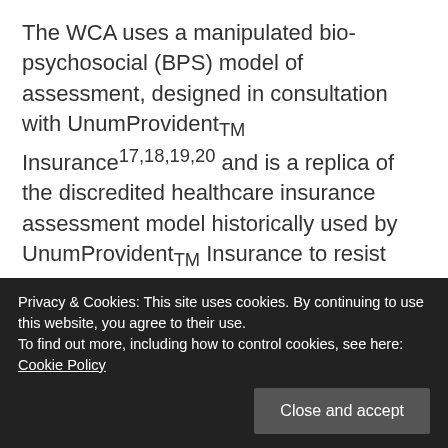The WCA uses a manipulated bio-psychosocial (BPS) model of assessment, designed in consultation with UnumProvidentTM Insurance17,18,19,20 and is a replica of the discredited healthcare insurance assessment model historically used by UnumProvidentTM Insurance to resist funding insurance claims.21  The LiMA IT programme used for the WCA was designed by Atos Origin IT Ltd, the parent
Privacy & Cookies: This site uses cookies. By continuing to use this website, you agree to their use.
To find out more, including how to control cookies, see here: Cookie Policy